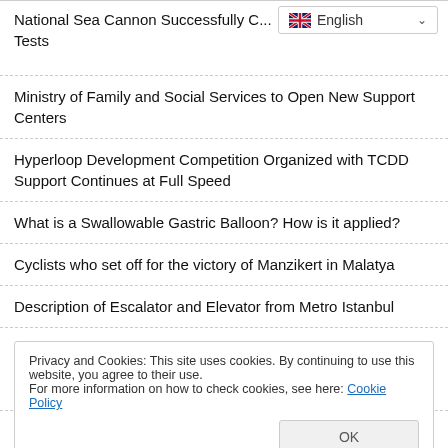[Figure (screenshot): Language selector dropdown showing English with flag icon and chevron]
National Sea Cannon Successfully C... Tests
Ministry of Family and Social Services to Open New Support Centers
Hyperloop Development Competition Organized with TCDD Support Continues at Full Speed
What is a Swallowable Gastric Balloon? How is it applied?
Cyclists who set off for the victory of Manzikert in Malatya
Description of Escalator and Elevator from Metro Istanbul
Çekmeköy Sancaktepe Sultanbeyli Metro Will End 6 Months
Privacy and Cookies: This site uses cookies. By continuing to use this website, you agree to their use.
For more information on how to check cookies, see here: Cookie Policy
Ayvalık 8th AIMA Music Festival Held With Pınar's Support